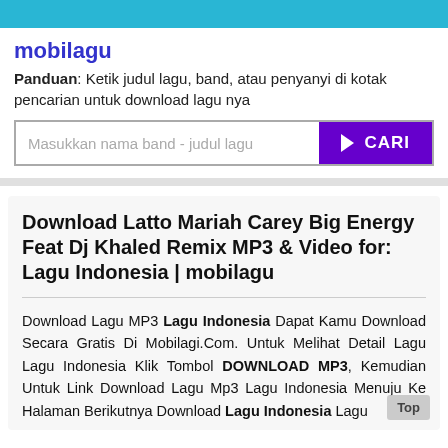mobilagu
Panduan: Ketik judul lagu, band, atau penyanyi di kotak pencarian untuk download lagu nya
[Figure (screenshot): Search box with placeholder 'Masukkan nama band - judul lagu' and purple CARI button]
Download Latto Mariah Carey Big Energy Feat Dj Khaled Remix MP3 & Video for: Lagu Indonesia | mobilagu
Download Lagu MP3 Lagu Indonesia Dapat Kamu Download Secara Gratis Di Mobilagi.Com. Untuk Melihat Detail Lagu Lagu Indonesia Klik Tombol DOWNLOAD MP3, Kemudian Untuk Link Download Lagu Mp3 Lagu Indonesia Menuju Ke Halaman Berikutnya Download Lagu Indonesia Lagu